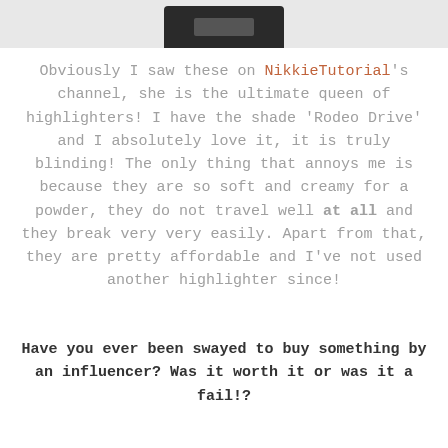[Figure (photo): Bottom portion of a circular compact or highlighter product, dark colored, showing just the lower edge against a light background.]
Obviously I saw these on NikkieTutorial's channel, she is the ultimate queen of highlighters! I have the shade 'Rodeo Drive' and I absolutely love it, it is truly blinding! The only thing that annoys me is because they are so soft and creamy for a powder, they do not travel well at all and they break very very easily. Apart from that, they are pretty affordable and I've not used another highlighter since!
Have you ever been swayed to buy something by an influencer? Was it worth it or was it a fail!?